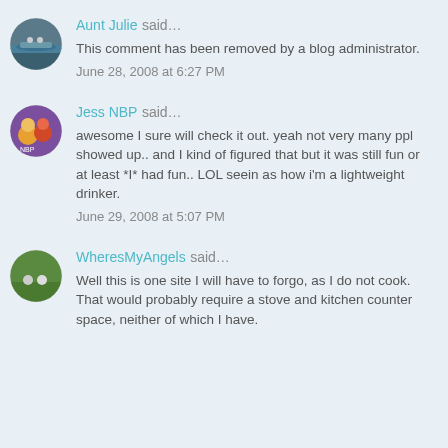[Figure (illustration): Circular avatar of Aunt Julie showing people on a boat/raft on water]
Aunt Julie said…
This comment has been removed by a blog administrator.
June 28, 2008 at 6:27 PM
[Figure (illustration): Circular avatar of Jess NBP showing cartoon characters on a purple background]
Jess NBP said…
awesome I sure will check it out. yeah not very many ppl showed up.. and I kind of figured that but it was still fun or at least *I* had fun.. LOL seein as how i'm a lightweight drinker.
June 29, 2008 at 5:07 PM
[Figure (illustration): Circular avatar of WheresMyAngels showing people on a green lawn]
WheresMyAngels said…
Well this is one site I will have to forgo, as I do not cook. That would probably require a stove and kitchen counter space, neither of which I have.